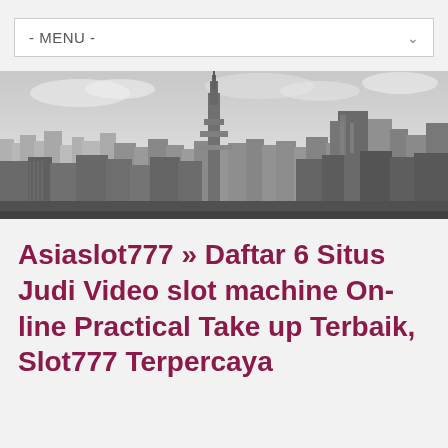- MENU -
[Figure (photo): Black and white panoramic cityscape/skyline photograph showing tall skyscrapers including what appears to be the Empire State Building in New York City, taken from an elevated viewpoint.]
Asiaslot777 » Daftar 6 Situs Judi Video slot machine Online Practical Take up Terbaik, Slot777 Terpercaya